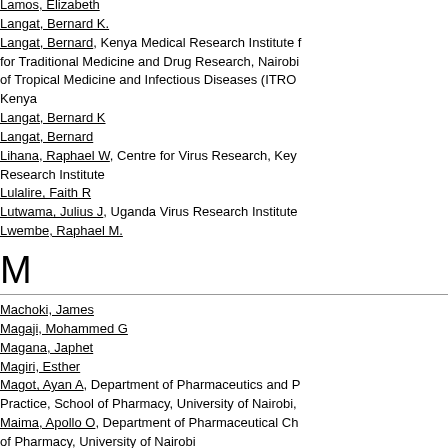Lamos, Elizabeth
Langat, Bernard K.
Langat, Bernard, Kenya Medical Research Institute for Traditional Medicine and Drug Research, Nairobi of Tropical Medicine and Infectious Diseases (ITRO Kenya
Langat, Bernard K
Langat, Bernard
Lihana, Raphael W, Centre for Virus Research, Kenya Research Institute
Lulalire, Faith R
Lutwama, Julius J, Uganda Virus Research Institute
Lwembe, Raphael M.
M
Machoki, James
Magaji, Mohammed G
Magana, Japhet
Magiri, Esther
Magot, Ayan A, Department of Pharmaceutics and P Practice, School of Pharmacy, University of Nairobi,
Maima, Apollo O, Department of Pharmaceutical Che of Pharmacy, University of Nairobi
Maina, Ayub K, Institute of Tropical Medicine & Infec Jomo Kenyatta University of Agriculture & Technolog
Maina, Carol K
Maina, Caroline W, Jomo Kenyatta University of Agri Technology
Maina, Esther N
Maina, Esther N, Department of Biochemistry, Unive (Kenya)
Maina, Esther NM
Maina, Susan W, Department of Pharmacology and School of Pharmacy, University of Nairobi, Kenya
Maingi, Ndichu
Maitai, Charles K